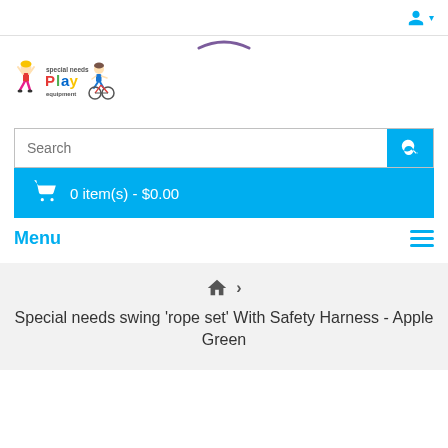[Figure (screenshot): User account icon with dropdown caret in top right corner]
[Figure (logo): Special Needs Play Equipment logo with illustrated children and colorful text]
[Figure (screenshot): Purple arc/wave decorative element near top center]
[Figure (screenshot): Search bar with cyan search button]
[Figure (screenshot): Shopping cart bar showing 0 item(s) - $0.00 on cyan background]
Menu
Special needs swing 'rope set' With Safety Harness - Apple Green